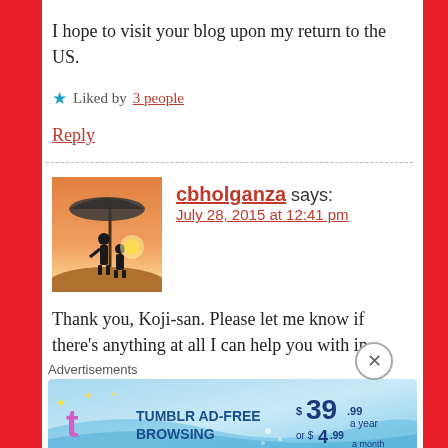I hope to visit your blog upon my return to the US.
★ Liked by 3 people
Reply
cbholganza says:
July 28, 2015 at 12:41 pm
Thank you, Koji-san. Please let me know if there's anything at all I can help you with in
[Figure (screenshot): Tumblr Ad-Free Browsing advertisement banner: $39.99 a year or $4.99 a month]
Advertisements